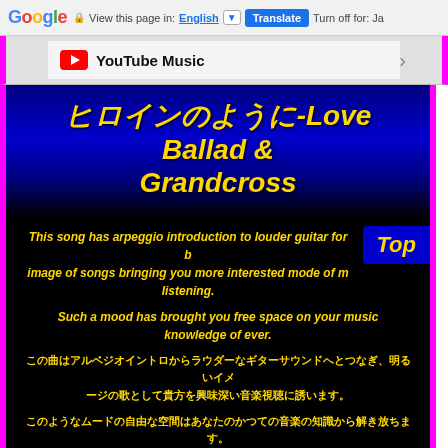Google  View this page in: English [▼]  Translate  Turn off for: Ja
[Figure (screenshot): YouTube Music banner with logo and arrow]
ヒロインのように-Love Ballad & Grandcross
This song has arpeggio introduction to louder guitar for b image of songs bringing you more interested mode of m listening.
Such a mood has brought you free space on your music knowledge of ever.
この曲はアルベジオイントロからラウダーなギターサウンドへとつなぎ、明るいイメージの歌として貴方を興味深い音楽視聴に誘います。
このようなムードの自由な空間はあなたのかつての音楽の知識から解き放ちます。
[Figure (photo): Colorful photo with yellow and pink gradient background showing a face silhouette]